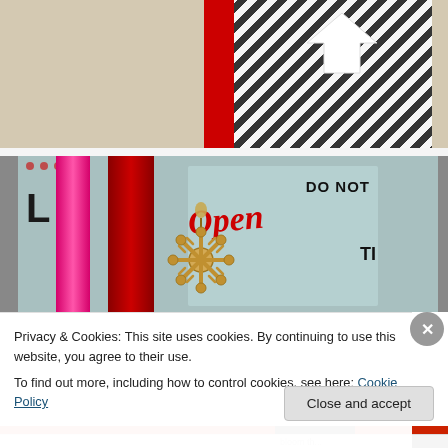[Figure (photo): Top photo showing a gift bag or package with black and white herringbone/zigzag pattern fabric, a red strip, and a white arrow embellishment on a beige background.]
[Figure (photo): Bottom photo showing Christmas/holiday items including a pink ribbon, red ribbon, a jar or bag labeled 'Do Not Open Till' with decorative script text, and a wooden snowflake ornament hanging in front. Stars visible in top left area.]
Privacy & Cookies: This site uses cookies. By continuing to use this website, you agree to their use.
To find out more, including how to control cookies, see here: Cookie Policy
Close and accept